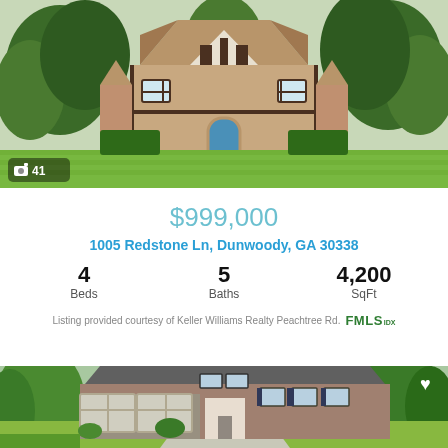[Figure (photo): Tudor-style brick home with manicured lawn and trees, photo count badge showing 41 photos]
$999,000
1005 Redstone Ln, Dunwoody, GA 30338
4 Beds  5 Baths  4,200 SqFt
Listing provided courtesy of Keller Williams Realty Peachtree Rd.  FMLS IDX
[Figure (photo): Large brick two-story home with three-car garage, landscaped front yard with heart/favorite icon]